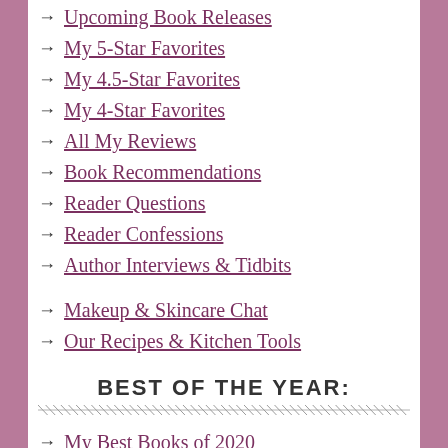Upcoming Book Releases
My 5-Star Favorites
My 4.5-Star Favorites
My 4-Star Favorites
All My Reviews
Book Recommendations
Reader Questions
Reader Confessions
Author Interviews & Tidbits
Makeup & Skincare Chat
Our Recipes & Kitchen Tools
BEST OF THE YEAR:
My Best Books of 2020
My Best Books of 2019
My Best Books of 2018
My Best Books of 2017
My Best Books of 2016